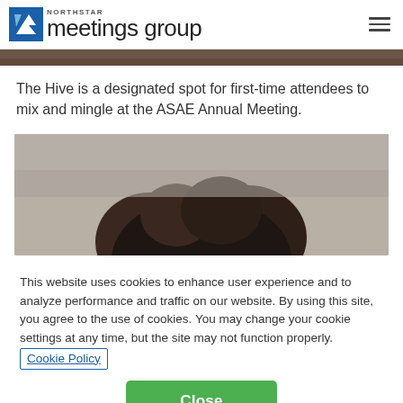NORTHSTAR meetings group
[Figure (photo): Top strip of a photo showing people at an event, partially visible]
The Hive is a designated spot for first-time attendees to mix and mingle at the ASAE Annual Meeting.
[Figure (photo): Close-up photo of the top of a person's head with dark brown curly hair against a grey background]
This website uses cookies to enhance user experience and to analyze performance and traffic on our website. By using this site, you agree to the use of cookies. You may change your cookie settings at any time, but the site may not function properly. Cookie Policy
Close